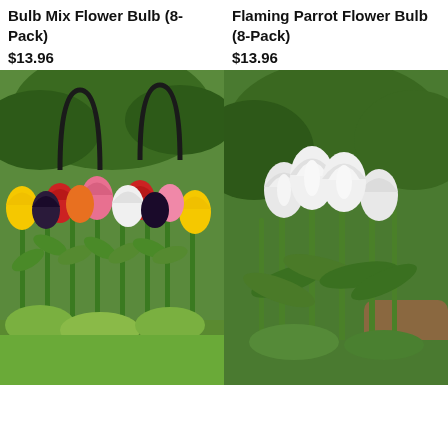Bulb Mix Flower Bulb (8-Pack)
$13.96
Flaming Parrot Flower Bulb (8-Pack)
$13.96
[Figure (photo): Colorful mixed tulips in various colors including yellow, red, pink, white, and dark purple/black, growing in a garden with green foliage and dark iron garden stakes]
[Figure (photo): White tulips growing in a garden with green leaves and foliage in the background]